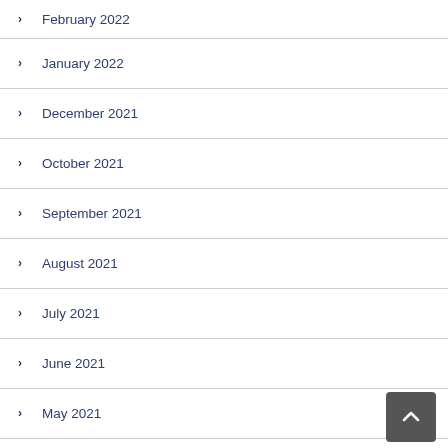February 2022
January 2022
December 2021
October 2021
September 2021
August 2021
July 2021
June 2021
May 2021
April 2021